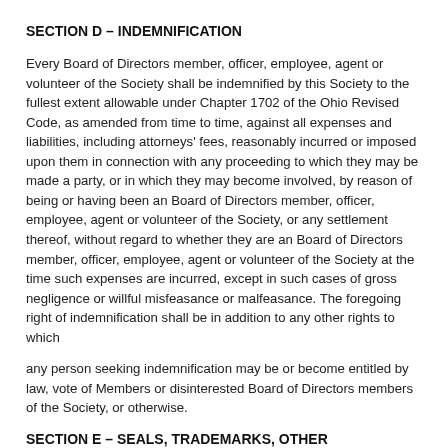SECTION D – INDEMNIFICATION
Every Board of Directors member, officer, employee, agent or volunteer of the Society shall be indemnified by this Society to the fullest extent allowable under Chapter 1702 of the Ohio Revised Code, as amended from time to time, against all expenses and liabilities, including attorneys' fees, reasonably incurred or imposed upon them in connection with any proceeding to which they may be made a party, or in which they may become involved, by reason of being or having been an Board of Directors member, officer, employee, agent or volunteer of the Society, or any settlement thereof, without regard to whether they are an Board of Directors member, officer, employee, agent or volunteer of the Society at the time such expenses are incurred, except in such cases of gross negligence or willful misfeasance or malfeasance. The foregoing right of indemnification shall be in addition to any other rights to which
any person seeking indemnification may be or become entitled by law, vote of Members or disinterested Board of Directors members of the Society, or otherwise.
SECTION E – SEALS, TRADEMARKS, OTHER INTELLECTUAL PROPERTY